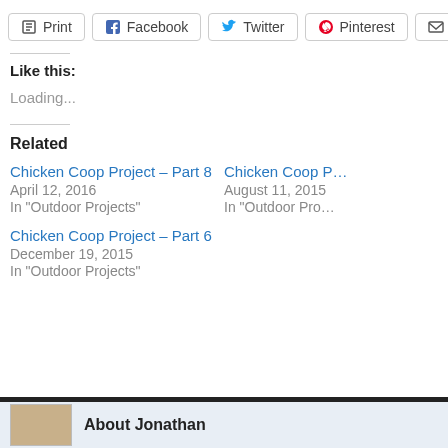Print | Facebook | Twitter | Pinterest | Email | •
Like this:
Loading...
Related
Chicken Coop Project – Part 8
April 12, 2016
In "Outdoor Projects"
Chicken Coop P...
August 11, 2015
In "Outdoor Pro..."
Chicken Coop Project – Part 6
December 19, 2015
In "Outdoor Projects"
About Jonathan